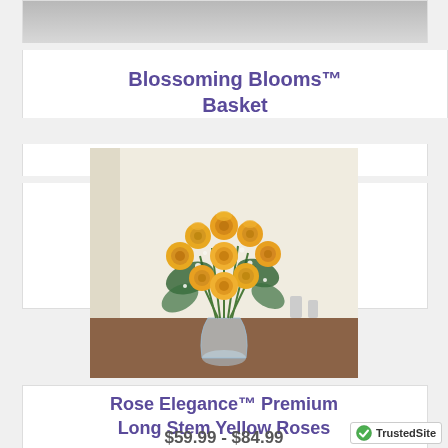[Figure (photo): Partial view of a flower basket product image at top of page (cropped)]
Blossoming Blooms™ Basket
$44.99 - $64.99
[Figure (photo): Arrangement of yellow/orange long stem roses in a clear glass vase on a wooden table, with baby's breath accents and a cream background]
Rose Elegance™ Premium Long Stem Yellow Roses
$59.99 - $84.99
[Figure (logo): TrustedSite badge with green checkmark in bottom right corner]